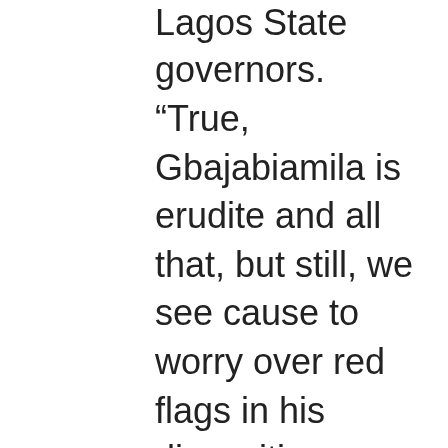Lagos State governors.
“True, Gbajabiamila is erudite and all that, but still, we see cause to worry over red flags in his disposition towards true statesmanship, especially with the basic leadership issues of integrity and truthfulness,” the group said.